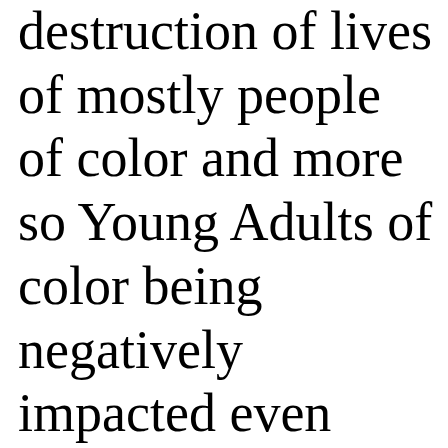destruction of lives of mostly people of color and more so Young Adults of color being negatively impacted even though they